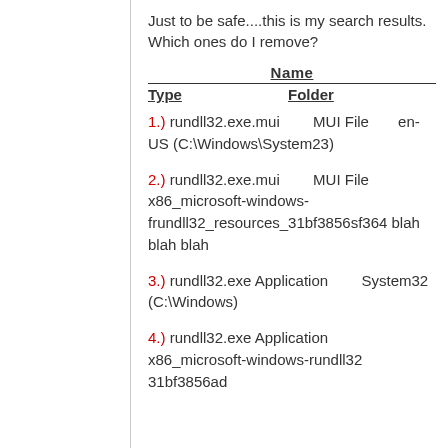Just to be safe....this is my search results.  Which ones do I remove?
| Name | Type | Folder |
| --- | --- | --- |
| 1.) rundll32.exe.mui | MUI File | en-US (C:\Windows\System23) |
| 2.) rundll32.exe.mui | MUI File | x86_microsoft-windows-frundll32_resources_31bf3856sf364 blah blah blah |
| 3.) rundll32.exe | Application | System32 (C:\Windows) |
| 4.) rundll32.exe | Application | x86_microsoft-windows-rundll32  31bf3856ad |
1.) rundll32.exe.mui   MUI File   en-US (C:\Windows\System23)
2.) rundll32.exe.mui   MUI File   x86_microsoft-windows-frundll32_resources_31bf3856sf364 blah blah blah
3.) rundll32.exe   Application   System32 (C:\Windows)
4.) rundll32.exe   Application   x86_microsoft-windows-rundll32  31bf3856ad